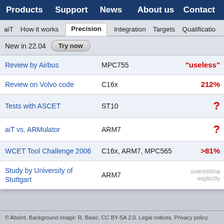Products  Support  News  About us  Contact
aiT  How it works  Precision  Integration  Targets  Qualification
New in 22.04   Try now
|  |  |  |
| --- | --- | --- |
| Review by Airbus | MPC755 | “useless” |
| Review on Volvo code | C16x | 212% |
| Tests with ASCET | ST10 | ? |
| aiT vs. ARMulator | ARM7 | ? |
| WCET Tool Challenge 2006 | C16x, ARM7, MPC565 | >81% |
| Study by University of Stuttgart | ARM7 | overestima... explicitly |
© AbsInt. Background image: R. Basic, CC BY-SA 2.0. Legal notices. Privacy policy.